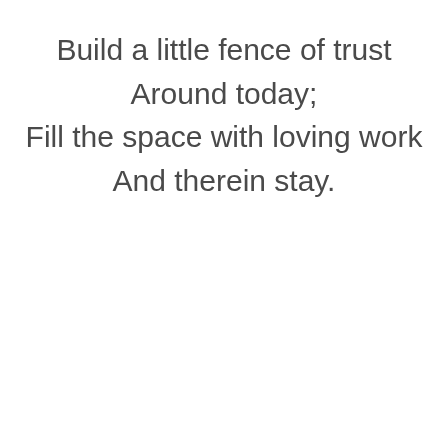Build a little fence of trust
Around today;
Fill the space with loving work
And therein stay.